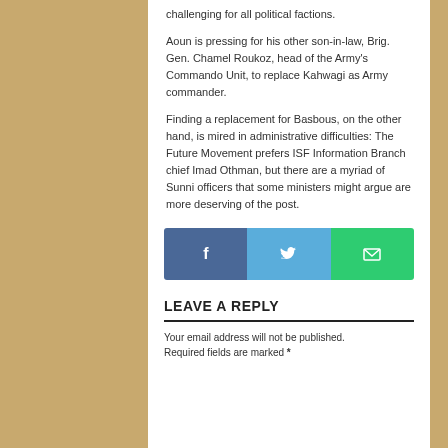challenging for all political factions.
Aoun is pressing for his other son-in-law, Brig. Gen. Chamel Roukoz, head of the Army's Commando Unit, to replace Kahwagi as Army commander.
Finding a replacement for Basbous, on the other hand, is mired in administrative difficulties: The Future Movement prefers ISF Information Branch chief Imad Othman, but there are a myriad of Sunni officers that some ministers might argue are more deserving of the post.
[Figure (other): Social share buttons: Facebook, Twitter, and Email]
LEAVE A REPLY
Your email address will not be published. Required fields are marked *